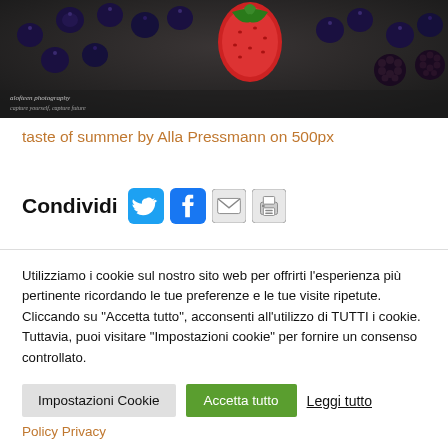[Figure (photo): Photo of berries (blueberries, strawberry, blackberries) on a dark surface with watermark text 'alofteen photography' and subtitle]
taste of summer by Alla Pressmann on 500px
Condividi [Twitter icon] [Facebook icon] [Email icon] [Print icon]
Utilizziamo i cookie sul nostro sito web per offrirti l'esperienza più pertinente ricordando le tue preferenze e le tue visite ripetute. Cliccando su "Accetta tutto", acconsenti all'utilizzo di TUTTI i cookie. Tuttavia, puoi visitare "Impostazioni cookie" per fornire un consenso controllato.
Impostazioni Cookie  Accetta tutto  Leggi tutto
Policy Privacy